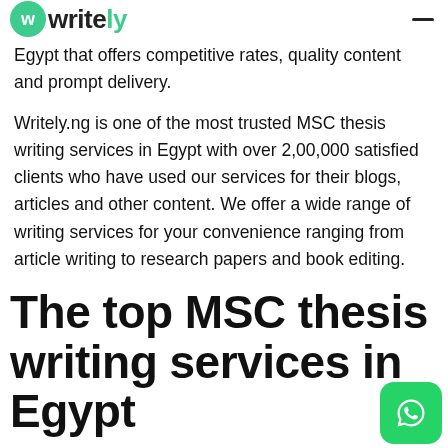Writely
Egypt that offers competitive rates, quality content and prompt delivery.
Writely.ng is one of the most trusted MSC thesis writing services in Egypt with over 2,00,000 satisfied clients who have used our services for their blogs, articles and other content. We offer a wide range of writing services for your convenience ranging from article writing to research papers and book editing.
The top MSC thesis writing services in Egypt